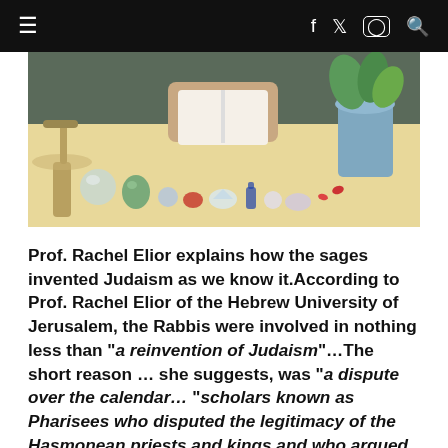≡  f  𝕏  ◻  🔍
[Figure (photo): Overhead view of a person's hands near an open book on a table, surrounded by decorative crystals, stones, beads, and a vase with green plants.]
Prof. Rachel Elior explains how the sages invented Judaism as we know it.According to Prof. Rachel Elior of the Hebrew University of Jerusalem, the Rabbis were involved in nothing less than "a reinvention of Judaism"…The short reason … she suggests, was "a dispute over the calendar… "scholars known as Pharisees who disputed the legitimacy of the Hasmonean priests and kings and who argued with the Zadokite priests